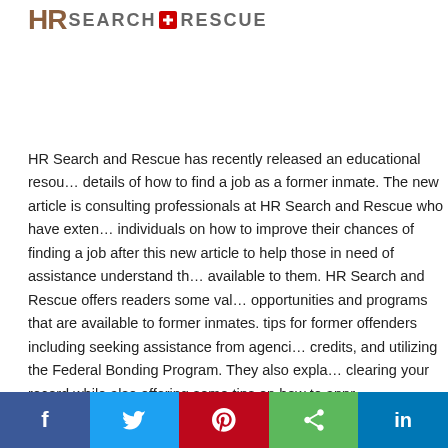[Figure (logo): HR Search and Rescue logo with stylized HR letters in brown and SEARCH + RESCUE text in gray with red cross symbol]
HR Search and Rescue has recently released an educational resource that details of how to find a job as a former inmate. The new article is written by consulting professionals at HR Search and Rescue who have extensive experience advising individuals on how to improve their chances of finding a job after serving time. They wrote this new article to help those in need of assistance understand the resources that are available to them. HR Search and Rescue offers readers some valuable information on opportunities and programs that are available to former inmates. They also offer some tips for former offenders including seeking assistance from agencies, looking into tax credits, and utilizing the Federal Bonding Program. They also explain the process of clearing your record while also offering some tips on how to approach former employers ...
[Figure (infographic): Social media sharing bar with Facebook, Twitter, Pinterest, Share, and LinkedIn buttons]